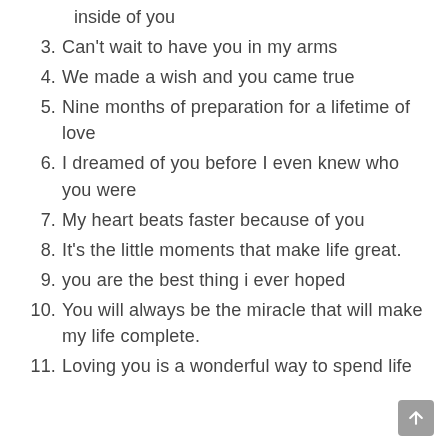inside of you
3. Can't wait to have you in my arms
4. We made a wish and you came true
5. Nine months of preparation for a lifetime of love
6. I dreamed of you before I even knew who you were
7. My heart beats faster because of you
8. It's the little moments that make life great.
9. you are the best thing i ever hoped
10. You will always be the miracle that will make my life complete.
11. Loving you is a wonderful way to spend life